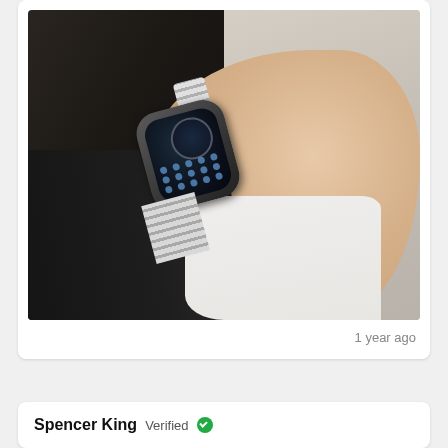[Figure (photo): A person wearing an Apple Watch with a silver/white link bracelet band on their wrist. The person is wearing a black sleeve and a white shirt is visible. The watch shows a dark watch face with complications. The background shows a beige/grey curtain.]
1 year ago
Spencer King  Verified